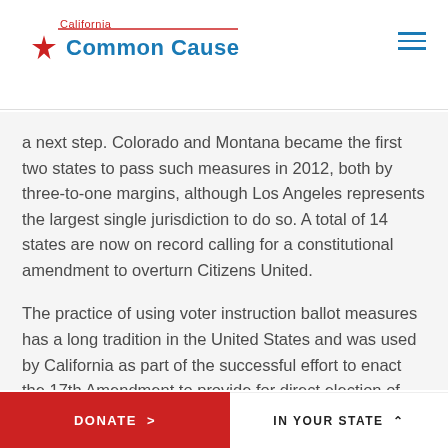California Common Cause
a next step. Colorado and Montana became the first two states to pass such measures in 2012, both by three-to-one margins, although Los Angeles represents the largest single jurisdiction to do so. A total of 14 states are now on record calling for a constitutional amendment to overturn Citizens United.
The practice of using voter instruction ballot measures has a long tradition in the United States and was used by California as part of the successful effort to enact the 17th Amendment to provide for direct election of U.S. Senators.
DONATE >    IN YOUR STATE ^